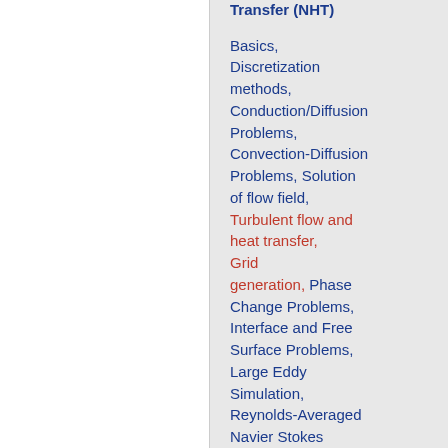Transfer (NHT)
Basics, Discretization methods, Conduction/Diffusion Problems, Convection-Diffusion Problems, Solution of flow field, Turbulent flow and heat transfer, Grid generation, Phase Change Problems, Interface and Free Surface Problems, Large Eddy Simulation, Reynolds-Averaged Navier Stokes Equations, Inverse Heat Transfer Problems, Monte Carlo methods, Lattice Boltzmann...